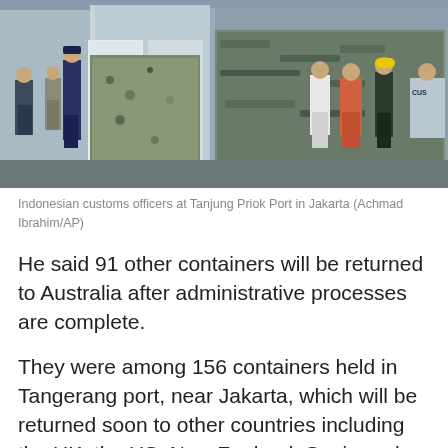[Figure (photo): Indonesian customs officers standing in front of large shipping containers packed with compressed plastic waste at Tanjung Priok Port in Jakarta]
Indonesian customs officers at Tanjung Priok Port in Jakarta (Achmad Ibrahim/AP)
He said 91 other containers will be returned to Australia after administrative processes are complete.
They were among 156 containers held in Tangerang port, near Jakarta, which will be returned soon to other countries including the UK, the US, New Zealand, Spain and Belgium.
Mr Pambudi said the government has stopped more than 2,000 containers this year in several ports in East